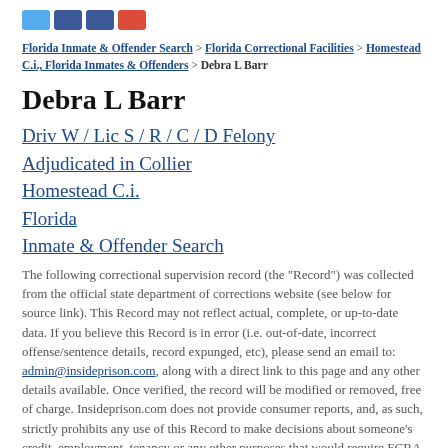[social icons: Twitter, Facebook, Facebook, Google+]
Florida Inmate & Offender Search > Florida Correctional Facilities > Homestead C.i., Florida Inmates & Offenders > Debra L Barr
Debra L Barr
Driv W / Lic S / R / C / D Felony
Adjudicated in Collier
Homestead C.i.
Florida
Inmate & Offender Search
The following correctional supervision record (the "Record") was collected from the official state department of corrections website (see below for source link). This Record may not reflect actual, complete, or up-to-date data. If you believe this Record is in error (i.e. out-of-date, incorrect offense/sentence details, record expunged, etc), please send an email to: admin@insideprison.com, along with a direct link to this page and any other details available. Once verified, the record will be modified or removed, free of charge. Insideprison.com does not provide consumer reports, and, as such, strictly prohibits any use of this Record to make decisions about someone's credit, employment, tenancy or any other purposes that would require FCRA compliance.
Debra L Barr is a 49 year old who was listed as